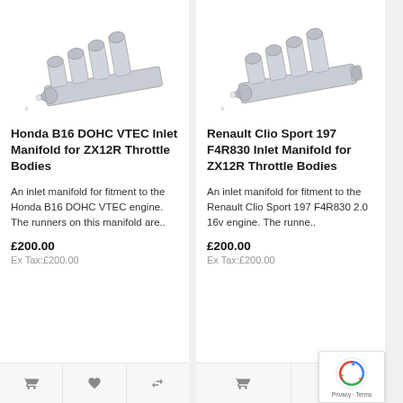[Figure (photo): Honda B16 DOHC VTEC inlet manifold for ZX12R throttle bodies — aluminium multi-runner intake manifold, photographed on white background]
Honda B16 DOHC VTEC Inlet Manifold for ZX12R Throttle Bodies
An inlet manifold for fitment to the Honda B16 DOHC VTEC engine. The runners on this manifold are..
£200.00
Ex Tax:£200.00
[Figure (photo): Renault Clio Sport 197 F4R830 inlet manifold for ZX12R throttle bodies — aluminium multi-runner intake manifold, photographed on white background]
Renault Clio Sport 197 F4R830 Inlet Manifold for ZX12R Throttle Bodies
An inlet manifold for fitment to the Renault Clio Sport 197 F4R830 2.0 16v engine. The runne..
£200.00
Ex Tax:£200.00